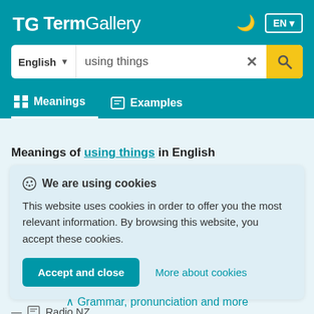[Figure (logo): TermGallery logo with teal background, showing TG icon and wordmark in white]
English  using things
Meanings  Examples
Meanings of using things in English
We are using cookies
This website uses cookies in order to offer you the most relevant information. By browsing this website, you accept these cookies.
Accept and close   More about cookies
— Radio NZ
Grammar, pronunciation and more